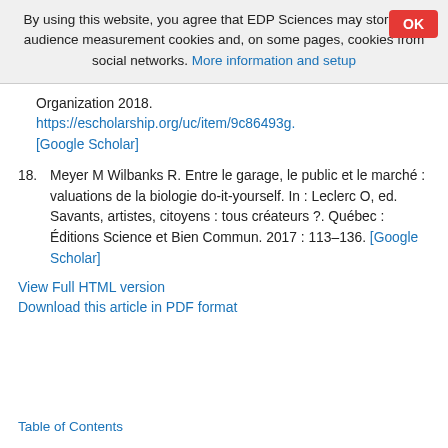By using this website, you agree that EDP Sciences may store web audience measurement cookies and, on some pages, cookies from social networks. More information and setup
Organization 2018. https://escholarship.org/uc/item/9c86493g. [Google Scholar]
18. Meyer M Wilbanks R. Entre le garage, le public et le marché : valuations de la biologie do-it-yourself. In : Leclerc O, ed. Savants, artistes, citoyens : tous créateurs ?. Québec : Éditions Science et Bien Commun. 2017 : 113–136. [Google Scholar]
View Full HTML version
Download this article in PDF format
Table of Contents